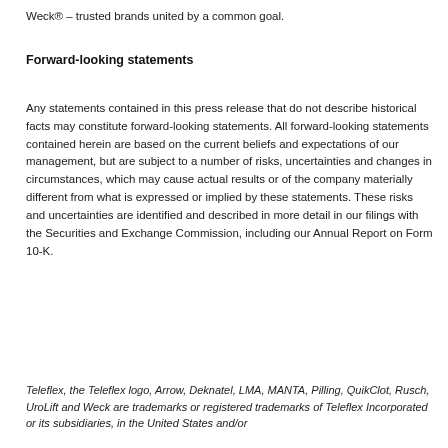Weck® – trusted brands united by a common goal.
Forward-looking statements
Any statements contained in this press release that do not describe historical facts may constitute forward-looking statements. All forward-looking statements contained herein are based on the current beliefs and expectations of our management, but are subject to a number of risks, uncertainties and changes in circumstances, which may cause actual results or of the company materially different from what is expressed or implied by these statements. These risks and uncertainties are identified and described in more detail in our filings with the Securities and Exchange Commission, including our Annual Report on Form 10-K.
Teleflex, the Teleflex logo, Arrow, Deknatel, LMA, MANTA, Pilling, QuikClot, Rusch, UroLift and Weck are trademarks or registered trademarks of Teleflex Incorporated or its subsidiaries, in the United States and/or